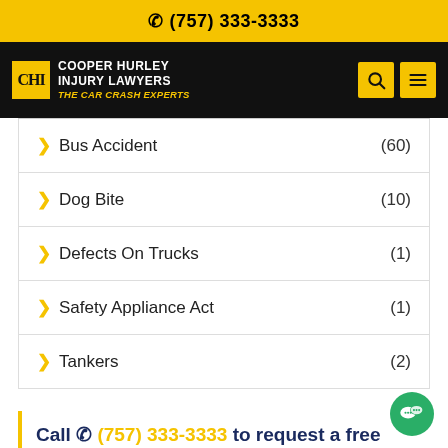☎ (757) 333-3333
CHI COOPER HURLEY INJURY LAWYERS THE CAR CRASH EXPERTS
Bus Accident (60)
Dog Bite (10)
Defects On Trucks (1)
Safety Appliance Act (1)
Tankers (2)
Call ☎ (757) 333-3333 to request a free